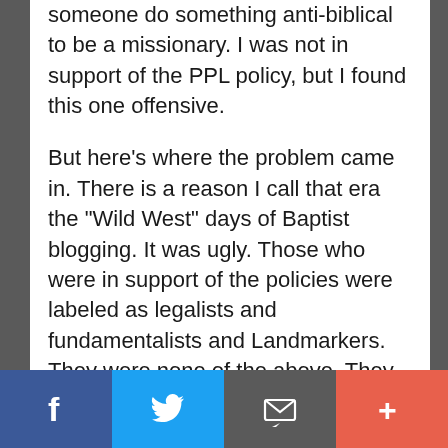someone do something anti-biblical to be a missionary. I was not in support of the PPL policy, but I found this one offensive.

But here’s where the problem came in. There is a reason I call that era the “Wild West” days of Baptist blogging. It was ugly. Those who were in support of the policies were labeled as legalists and fundamentalists and Landmarkers. They were none of the above. They were wrong (in my humble but correct opinion) but they weren’t men with horns who hated the gospel and wanted to destroy truth, justice
Facebook | Twitter | Email | More